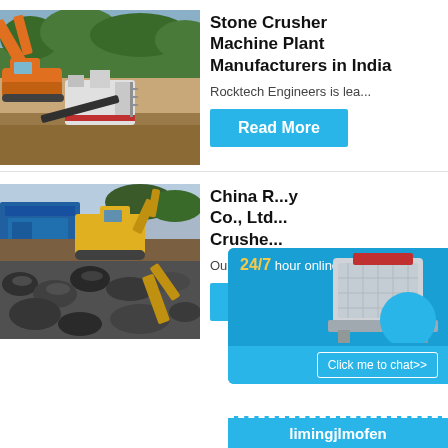[Figure (photo): Construction site with orange excavator and stone crusher plant machinery in an outdoor quarry, trees in background.]
Stone Crusher Machine Plant Manufacturers in India
Rocktech Engineers is lea...
[Figure (other): Read More button - cyan/blue background with white bold text]
[Figure (photo): Two images: top shows yellow construction machinery on a quarry site with blue machinery; bottom shows rubble/rocks being crushed by yellow excavator.]
China R...y Co., Ltd... Crushe...
Our comp...
[Figure (other): Chat widget overlay showing: 24/7 hour online, image of a crusher machine, Click me to chat>> button, and limingjlmofen text at bottom]
[Figure (other): Read and Enquiry buttons - cyan/blue background]
limingjlmofen